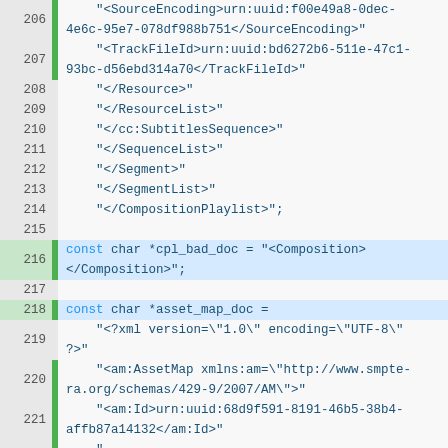[Figure (screenshot): Source code listing showing lines 206-229 of C/XML code with line numbers, green gutter markers, and syntax highlighting. Lines include XML string literals for SourceEncoding, TrackFileId, Resource, ResourceList, SubtitlesSequence, SequenceList, Segment, SegmentList, CompositionPlaylist, const char declarations for cpl_bad_doc and asset_map_doc with XML content including AssetMap, am:Id, am:AnnotationText, am:Creator, am:VolumeCount, am:IssueDate, am:Issuer, am:AssetList, am:Asset, and am:Id elements.]